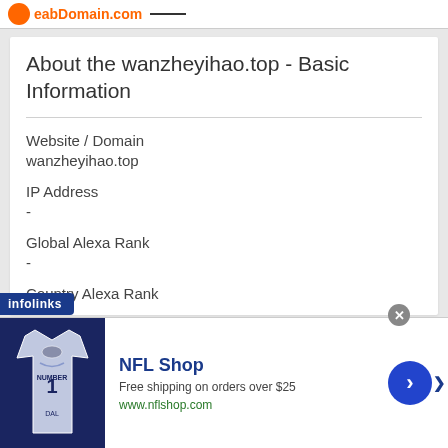eabDomain.com
About the wanzheyihao.top - Basic Information
Website / Domain
wanzheyihao.top
IP Address
-
Global Alexa Rank
-
Country Alexa Rank
[Figure (screenshot): Infolinks ad banner with NFL Shop advertisement showing a Dallas Cowboys jersey, text 'NFL Shop', 'Free shipping on orders over $25', 'www.nflshop.com', blue arrow button]